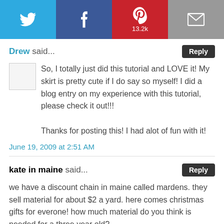[Figure (infographic): Social sharing bar with Twitter, Facebook, Pinterest (13.2k), and Email icons]
Drew said...
So, I totally just did this tutorial and LOVE it! My skirt is pretty cute if I do say so myself! I did a blog entry on my experience with this tutorial, please check it out!!!

Thanks for posting this! I had alot of fun with it!
June 19, 2009 at 2:51 AM
kate in maine said...
we have a discount chain in maine called mardens. they sell material for about $2 a yard. here comes christmas gifts for everone! how much material do you think is needed for a three year old?
June 19, 2009 at 7:59 AM